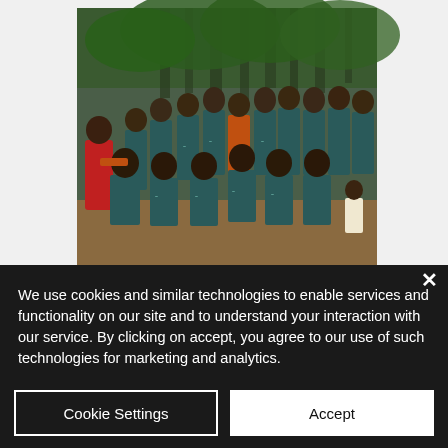[Figure (photo): A group of people, mostly adults, posing outdoors. Many are wearing dark teal/navy t-shirts with an 'ECOSHARE' logo. They are standing and sitting on dirt ground with trees in the background. One person on the left wears a red shirt.]
We use cookies and similar technologies to enable services and functionality on our site and to understand your interaction with our service. By clicking on accept, you agree to our use of such technologies for marketing and analytics.
Cookie Settings
Accept